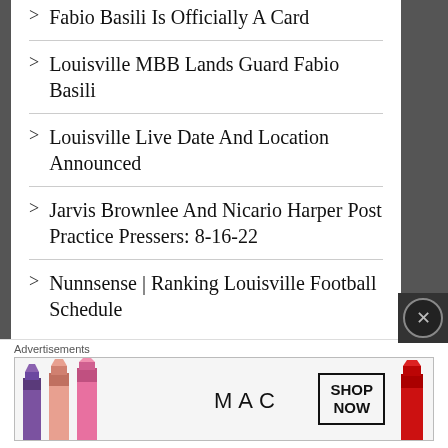Fabio Basili Is Officially A Card
Louisville MBB Lands Guard Fabio Basili
Louisville Live Date And Location Announced
Jarvis Brownlee And Nicario Harper Post Practice Pressers: 8-16-22
Nunnsense | Ranking Louisville Football Schedule
Advertisements
[Figure (photo): MAC cosmetics advertisement showing lipsticks with SHOP NOW button]